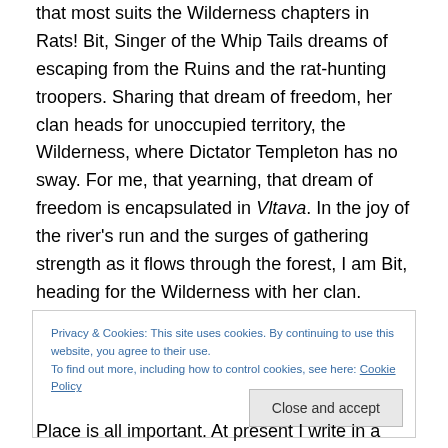that most suits the Wilderness chapters in Rats! Bit, Singer of the Whip Tails dreams of escaping from the Ruins and the rat-hunting troopers. Sharing that dream of freedom, her clan heads for unoccupied territory, the Wilderness, where Dictator Templeton has no sway. For me, that yearning, that dream of freedom is encapsulated in Vltava. In the joy of the river's run and the surges of gathering strength as it flows through the forest, I am Bit, heading for the Wilderness with her clan. Hearing Vltava places me there, climbing the hills, sleeping in the forests; searching for a refuge where Rats can live free.
Privacy & Cookies: This site uses cookies. By continuing to use this website, you agree to their use. To find out more, including how to control cookies, see here: Cookie Policy
Place is all important. At present I write in a room with a